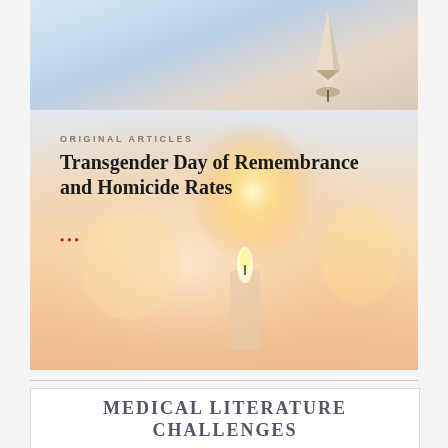[Figure (photo): Top image: blurred pencil tip pointing downward with soft cloudy blue-white background]
[Figure (photo): Background image of lit candles with warm glowing amber and soft white bokeh light, blurred]
ORIGINAL ARTICLES
Transgender Day of Remembrance and Homicide Rates
•••
MEDICAL LITERATURE CHALLENGES